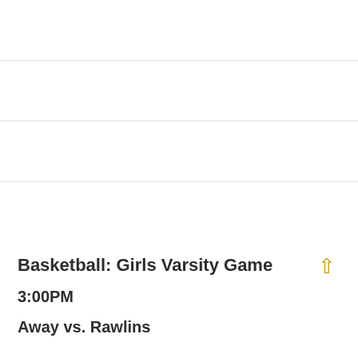Basketball: Girls Varsity Game
3:00PM
Away vs. Rawlins